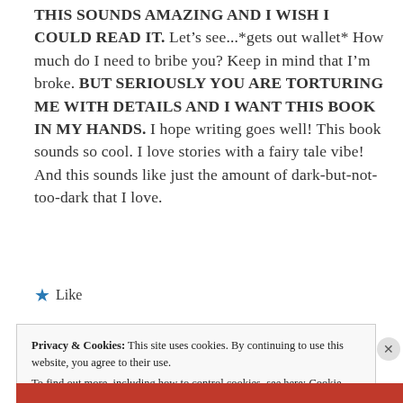THIS SOUNDS AMAZING AND I WISH I COULD READ IT. Let's see...*gets out wallet* How much do I need to bribe you? Keep in mind that I'm broke. BUT SERIOUSLY YOU ARE TORTURING ME WITH DETAILS AND I WANT THIS BOOK IN MY HANDS. I hope writing goes well! This book sounds so cool. I love stories with a fairy tale vibe! And this sounds like just the amount of dark-but-not-too-dark that I love.
★ Like
Privacy & Cookies: This site uses cookies. By continuing to use this website, you agree to their use.
To find out more, including how to control cookies, see here: Cookie Policy
Close and accept